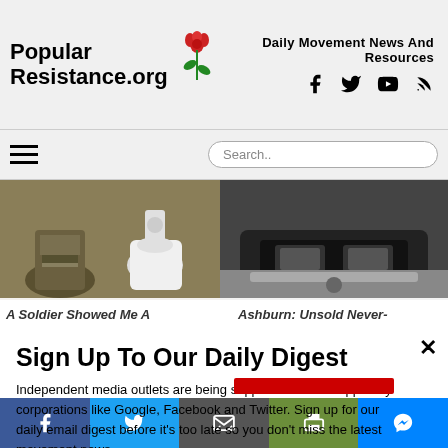Popular Resistance.org — Daily Movement News And Resources
[Figure (screenshot): Website header with Popular Resistance.org logo (red rose graphic), tagline 'Daily Movement News And Resources', social media icons (Facebook, Twitter, YouTube, RSS), hamburger menu, and search bar]
[Figure (photo): Two article thumbnail images: left shows military boots and a washing machine (camouflage fatigues visible), right shows dark SUV vehicle front bumper]
A Soldier Showed Me A
Ashburn: Unsold Never-
Sign Up To Our Daily Digest
Independent media outlets are being suppressed and dropped by corporations like Google, Facebook and Twitter. Sign up for our daily email digest before it's too late so you don't miss the latest movement news.
Email
Facebook | Twitter | Email | Print | Messenger — social share buttons